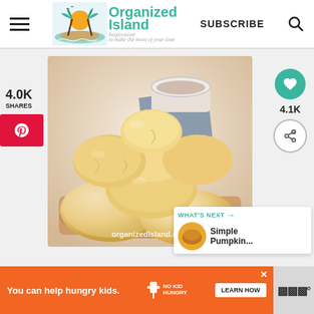Organized Island — Inspiration to make the most of your time | SUBSCRIBE
[Figure (photo): Stacked soft dinner rolls on a wooden board with a bowl of dipping sauce and blue cloth in background; watermark reads organizedIsland.com]
4.0K SHARES
4.1K
WHAT'S NEXT → Simple Pumpkin...
You can help hungry kids. NO KID HUNGRY LEARN HOW